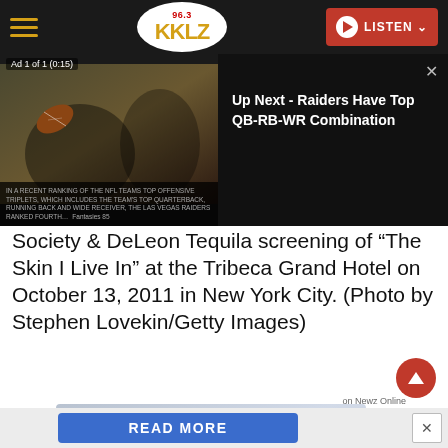[Figure (screenshot): 96.3 KKLZ radio station navigation bar with hamburger menu, oval logo, and red LISTEN button]
[Figure (screenshot): Video ad overlay showing a football player, labeled 'Ad 1 of 1 (0:15)' with caption about NFL teams top offensive triplets and Las Vegas Raiders ranked fourth]
[Figure (screenshot): Up Next panel with text 'Up Next - Raiders Have Top QB-RB-WR Combination' on dark background with X close button]
Society & DeLeon Tequila screening of "The Skin I Live In" at the Tribeca Grand Hotel on October 13, 2011 in New York City. (Photo by Stephen Lovekin/Getty Images)
[Figure (screenshot): Advertisement banner for $99 Room & Golf in Mesquite, NV]
[Figure (screenshot): READ MORE button bar at bottom with blue button and X close, 'on Newz Online' label]